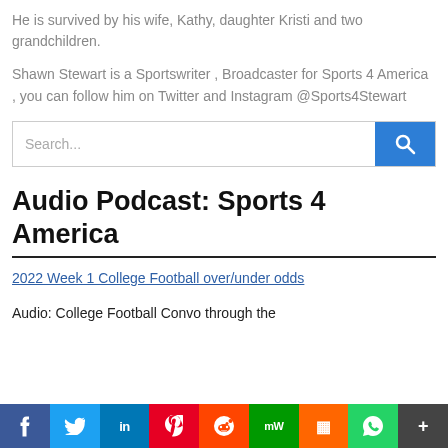He is survived by his wife, Kathy, daughter Kristi and two grandchildren.
Shawn Stewart is a Sportswriter , Broadcaster for Sports 4 America , you can follow him on Twitter and Instagram @Sports4Stewart
[Figure (other): Search bar with text input and blue search button icon]
Audio Podcast: Sports 4 America
2022 Week 1 College Football over/under odds
Audio: College Football Convo through the
[Figure (infographic): Social sharing bar with buttons: Facebook (f), Twitter bird, LinkedIn (in), Pinterest (P), Reddit alien, MeWe (mW), Mix (m), WhatsApp, More (+)]